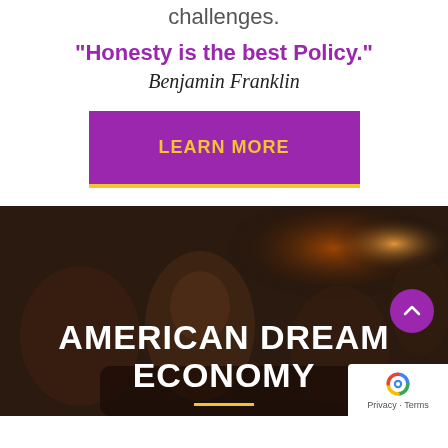challenges.
"Honesty is the best Policy."
Benjamin Franklin
LEARN MORE
[Figure (photo): Dark blurred background photo of people at an event/lecture, with text overlay reading 'AMERICAN DREAM ECONOMY' in large white bold letters, a gold underline bar, a purple scroll-up button, and a reCAPTCHA badge in the bottom-right corner.]